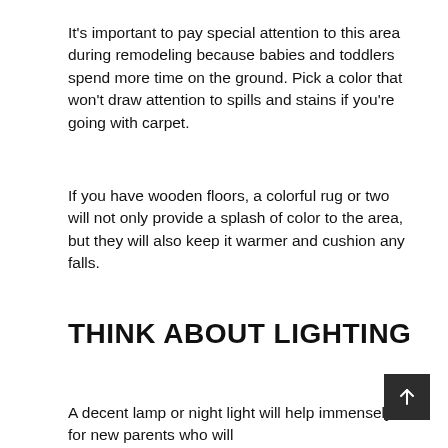It's important to pay special attention to this area during remodeling because babies and toddlers spend more time on the ground. Pick a color that won't draw attention to spills and stains if you're going with carpet.
If you have wooden floors, a colorful rug or two will not only provide a splash of color to the area, but they will also keep it warmer and cushion any falls.
THINK ABOUT LIGHTING
A decent lamp or night light will help immensely for new parents who will